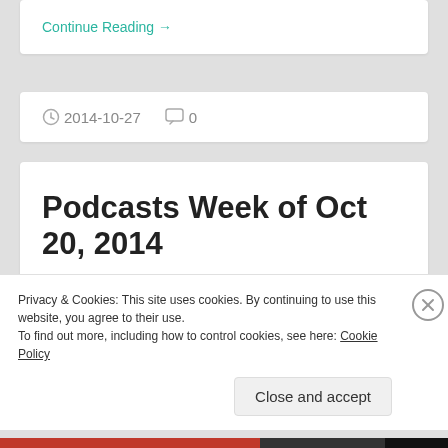Continue Reading →
2014-10-27  0
Podcasts Week of Oct 20, 2014
During my one year experiment of One hour a day I've collected a nice list of shows that I listen to. There
Privacy & Cookies: This site uses cookies. By continuing to use this website, you agree to their use.
To find out more, including how to control cookies, see here: Cookie Policy
Close and accept